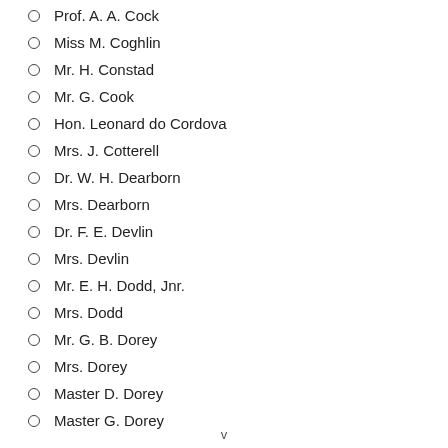Prof. A. A. Cock
Miss M. Coghlin
Mr. H. Constad
Mr. G. Cook
Hon. Leonard do Cordova
Mrs. J. Cotterell
Dr. W. H. Dearborn
Mrs. Dearborn
Dr. F. E. Devlin
Mrs. Devlin
Mr. E. H. Dodd, Jnr.
Mrs. Dodd
Mr. G. B. Dorey
Mrs. Dorey
Master D. Dorey
Master G. Dorey
v